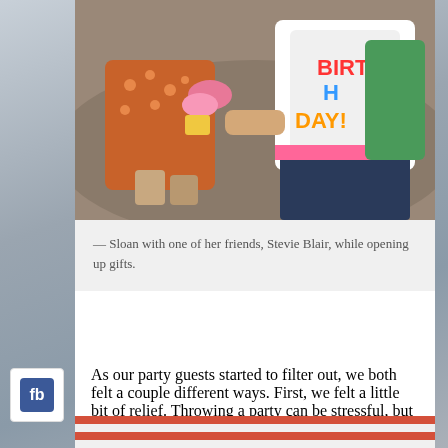[Figure (photo): Two young children sitting on the ground, one wearing an orange polka dot outfit, the other wearing a white 'BIRTHDAY' shirt with colorful letters, opening gifts.]
— Sloan with one of her friends, Stevie Blair, while opening up gifts.
As our party guests started to filter out, we both felt a couple different ways. First, we felt a little bit of relief. Throwing a party can be stressful, but the predominating emotion was definitely joy. Not only was our little girl 1 but we had shared the day with a large group of people who care about her.
[Figure (photo): Partial view of a second photo at the bottom of the page, showing colorful decorations or gifts.]